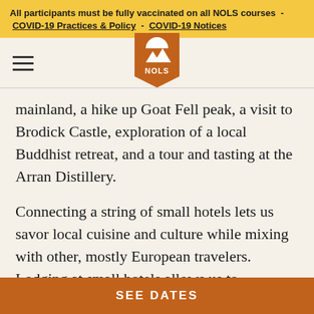All participants must be fully vaccinated on all NOLS courses - COVID-19 Practices & Policy - COVID-19 Notices
[Figure (logo): NOLS logo: orange pennant shape with white mountain/moon icon and NOLS text below]
mainland, a hike up Goat Fell peak, a visit to Brodick Castle, exploration of a local Buddhist retreat, and a tour and tasting at the Arran Distillery.
Connecting a string of small hotels lets us savor local cuisine and culture while mixing with other, mostly European travelers. Lodging at small hotels allows us to considerably lighten our packs for our daily hikes (average move is ~8 miles) along the rocky coast, through small villages, and across steep
SEE DATES